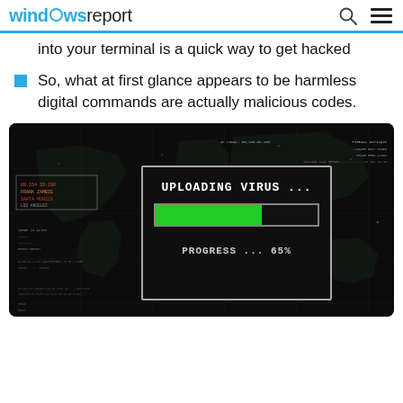windows report
into your terminal is a quick way to get hacked
So, what at first glance appears to be harmless digital commands are actually malicious codes.
[Figure (screenshot): Dark hacker-themed screenshot showing a dialog with 'UPLOADING VIRUS ...' text, a green progress bar, and 'PROGRESS... 65%' below it, overlaid on a dark world map background with various data readouts on the sides.]